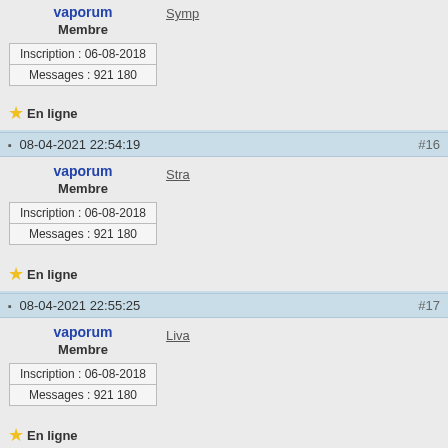vaporum
Membre
Symp
| Inscription : 06-08-2018 |
| Messages : 921 180 |
⭐ En ligne
08-04-2021 22:54:19  #16
vaporum
Membre
Stra
| Inscription : 06-08-2018 |
| Messages : 921 180 |
⭐ En ligne
08-04-2021 22:55:25  #17
vaporum
Membre
Liva
| Inscription : 06-08-2018 |
| Messages : 921 180 |
⭐ En ligne